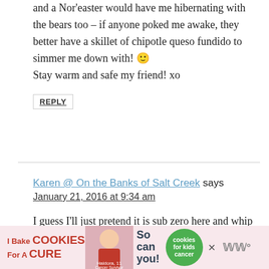and a Nor'easter would have me hibernating with the bears too – if anyone poked me awake, they better have a skillet of chipotle queso fundido to simmer me down with! 🙂
Stay warm and safe my friend! xo
REPLY
Karen @ On the Banks of Salt Creek says
January 21, 2016 at 9:34 am
I guess I'll just pretend it is sub zero here and whip this up and eat it all myself. I don't think I would get very far with my guys. They would pounce on this in a nano second.
[Figure (infographic): Advertisement banner: I Bake COOKIES For A CURE featuring a woman and Haldora, 11 Cancer Survivor, with cookies for kids cancer logo and 'So can you!' text]